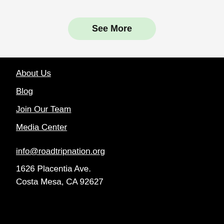See More
About Us
Blog
Join Our Team
Media Center
info@roadtripnation.org
1626 Placentia Ave.
Costa Mesa, CA 92627